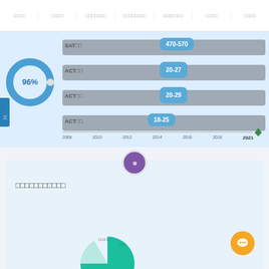□□□□  □□□□  □□□□□□□  □□□□□□□□  □□□□□□□  □□□□  □□□□
[Figure (bar-chart): Horizontal bar chart showing test score ranges with a donut chart showing 96% and a timeline from 2008 to 2021]
[Figure (donut-chart): 96%]
[Figure (other): University logo circular emblem with purple color]